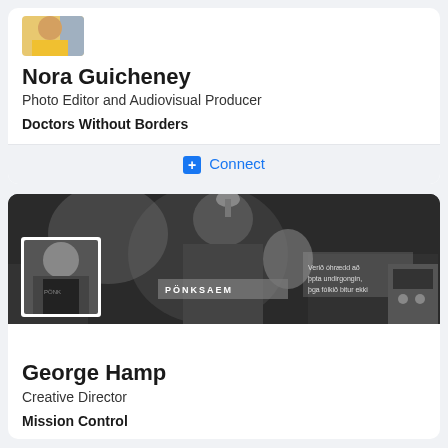[Figure (photo): Small profile photo thumbnail of Nora Guicheney, showing a partial figure in yellow top]
Nora Guicheney
Photo Editor and Audiovisual Producer
Doctors Without Borders
Connect
[Figure (photo): Black and white banner photo showing a person in a PÖNKSAEM shirt making a hand gesture, with Icelandic text visible. An inset profile photo of George Hamp is overlaid at bottom left.]
George Hamp
Creative Director
Mission Control